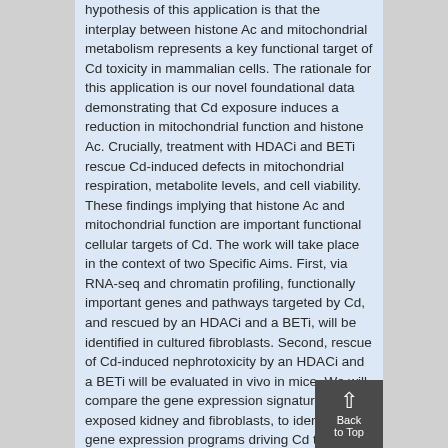hypothesis of this application is that the interplay between histone Ac and mitochondrial metabolism represents a key functional target of Cd toxicity in mammalian cells. The rationale for this application is our novel foundational data demonstrating that Cd exposure induces a reduction in mitochondrial function and histone Ac. Crucially, treatment with HDACi and BETi rescue Cd-induced defects in mitochondrial respiration, metabolite levels, and cell viability. These findings implying that histone Ac and mitochondrial function are important functional cellular targets of Cd. The work will take place in the context of two Specific Aims. First, via RNA-seq and chromatin profiling, functionally important genes and pathways targeted by Cd, and rescued by an HDACi and a BETi, will be identified in cultured fibroblasts. Second, rescue of Cd-induced nephrotoxicity by an HDACi and a BETi will be evaluated in vivo in mice. We will compare the gene expression signatures of Cd-exposed kidney and fibroblasts, to identify core gene expression programs driving Cd toxicity, particularly focusing on those rescued by